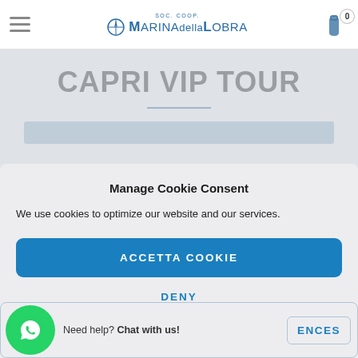Marina della Lobra - Soc. Coop.
CAPRI VIP TOUR
Manage Cookie Consent
We use cookies to optimize our website and our services.
ACCETTA COOKIE
DENY
Need help? Chat with us! ENCES